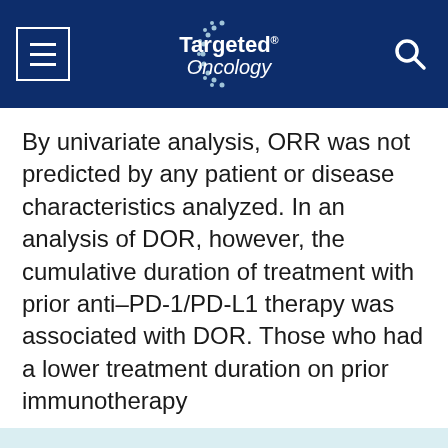Targeted Oncology
By univariate analysis, ORR was not predicted by any patient or disease characteristics analyzed. In an analysis of DOR, however, the cumulative duration of treatment with prior anti–PD-1/PD-L1 therapy was associated with DOR. Those who had a lower treatment duration on prior immunotherapy
This website stores data such as cookies to enable essential site functionality, as well as marketing, personalization, and analytics. Cookie Policy
Accept
Deny